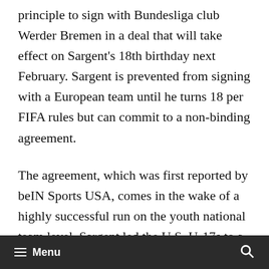principle to sign with Bundesliga club Werder Bremen in a deal that will take effect on Sargent's 18th birthday next February. Sargent is prevented from signing with a European team until he turns 18 per FIFA rules but can commit to a non-binding agreement.
The agreement, which was first reported by beIN Sports USA, comes in the wake of a highly successful run on the youth national team level. Sargent led the U.S. U-17s to a World Cup berth with five goals in qualifying before joining up with the U.S. U-20s at just 17 years old. The forward scored twice in Monday's World Cup
≡ Menu